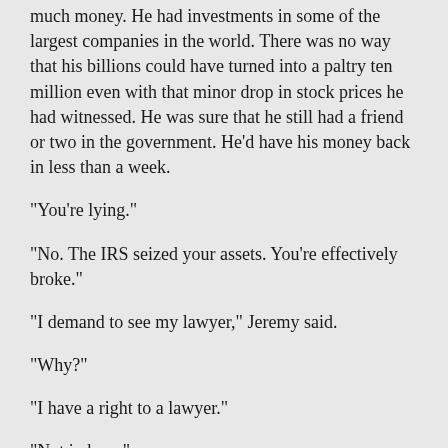much money. He had investments in some of the largest companies in the world. There was no way that his billions could have turned into a paltry ten million even with that minor drop in stock prices he had witnessed. He was sure that he still had a friend or two in the government. He'd have his money back in less than a week.
"You're lying."
"No. The IRS seized your assets. You're effectively broke."
"I demand to see my lawyer," Jeremy said.
"Why?"
"I have a right to a lawyer."
"Not in here."
That answer took Jeremy by surprise. "Where am I? Gitmo? You can't hold me under the Patriot Act."
"You aren't in Gitmo, and you aren't being held under the Patriot Act."